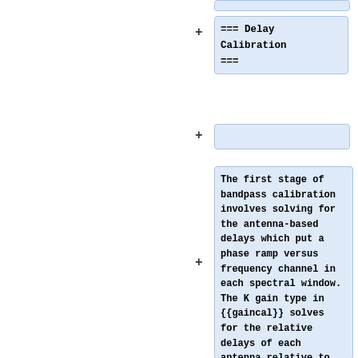=== Delay Calibration ===
The first stage of bandpass calibration involves solving for the antenna-based delays which put a phase ramp versus frequency channel in each spectral window. The K gain type in {{gaincal}} solves for the relative delays of each antenna relative to the <tt>refant</tt> (so be sure you pick one that is there for this entire scan and good). This is not a